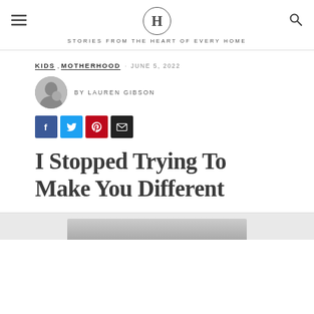H — STORIES FROM THE HEART OF EVERY HOME
KIDS , MOTHERHOOD · JUNE 5, 2022
BY LAUREN GIBSON
[Figure (illustration): Social share buttons: Facebook (blue), Twitter (cyan), Pinterest (red), Email (black)]
I Stopped Trying To Make You Different
[Figure (photo): Partial photo of mother and child visible at bottom of page]